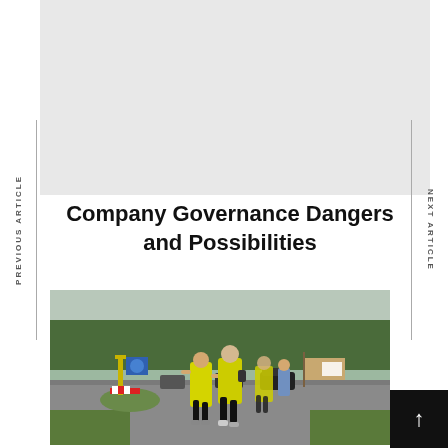[Figure (photo): Gray banner placeholder at the top of the page]
PREVIOUS ARTICLE
NEXT ARTICLE
Company Governance Dangers and Possibilities
[Figure (photo): Outdoor photograph of runners in yellow high-visibility vests jogging along a road near a roundabout, with trees and signs in the background]